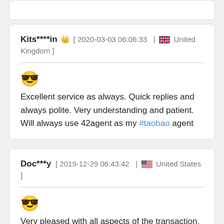Kits****in 👑 [ 2020-03-03 06:06:33 | 🇬🇧 United Kingdom ]
😎 Excellent service as always. Quick replies and always polite. Very understanding and patient. Will always use 42agent as my #taobao agent
Doc***y [ 2019-12-29 06:43:42 | 🇺🇸 United States ]
😎 Very pleased with all aspects of the transaction. This was my first experience using a #taobao agent to